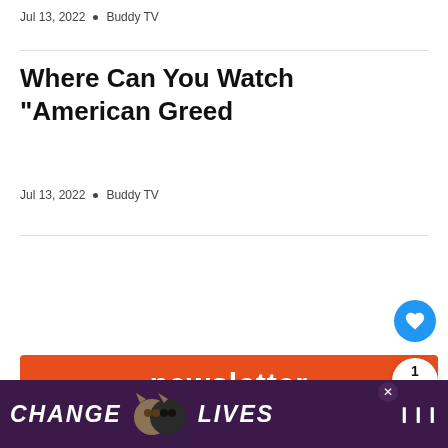Jul 13, 2022  •  Buddy TV
Where Can You Watch “American Greed
Jul 13, 2022  •  Buddy TV
[Figure (infographic): Newsletter subscription banner with orange/red background showing 'newsletter' heading and 'Subscribe for your weekly upda...' text with a First Name input field]
[Figure (infographic): Advertisement banner: purple background with cats and text 'CHANGE LIVES']